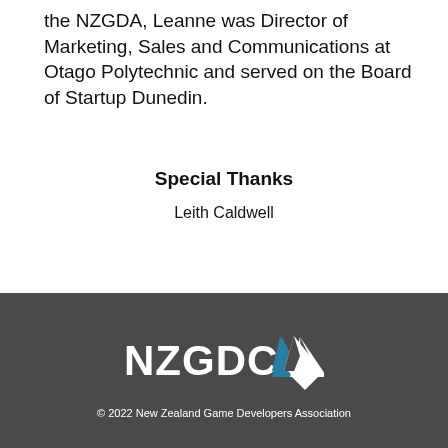the NZGDA, Leanne was Director of Marketing, Sales and Communications at Otago Polytechnic and served on the Board of Startup Dunedin.
Special Thanks
Leith Caldwell
[Figure (logo): NZGDC logo: white text 'NZGDC' with a white angular mountain/chevron symbol to the right]
© 2022 New Zealand Game Developers Association